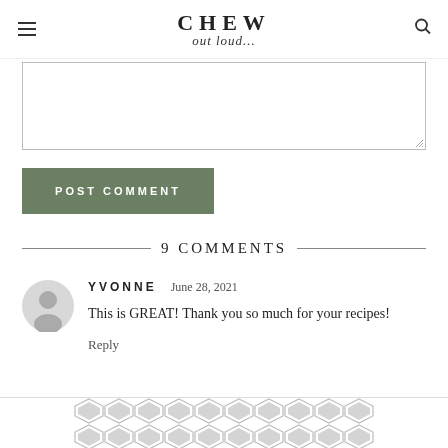CHEW out loud...
[Comment textarea input field]
POST COMMENT
9 COMMENTS
YVONNE   June 28, 2021
This is GREAT! Thank you so much for your recipes!
Reply
[Figure (other): Geometric hexagon/chevron pattern advertisement strip at bottom of page]